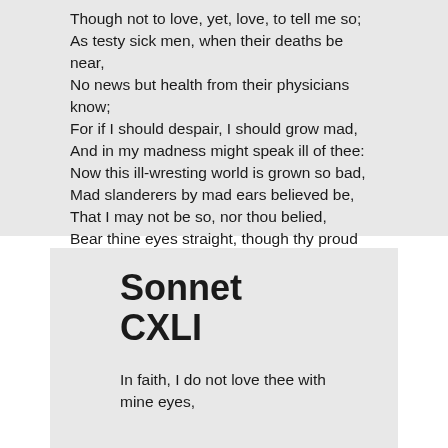Though not to love, yet, love, to tell me so;
As testy sick men, when their deaths be near,
No news but health from their physicians know;
For if I should despair, I should grow mad,
And in my madness might speak ill of thee:
Now this ill-wresting world is grown so bad,
Mad slanderers by mad ears believed be,
That I may not be so, nor thou belied,
Bear thine eyes straight, though thy proud heart go wide.
Sonnet CXLI
In faith, I do not love thee with mine eyes,